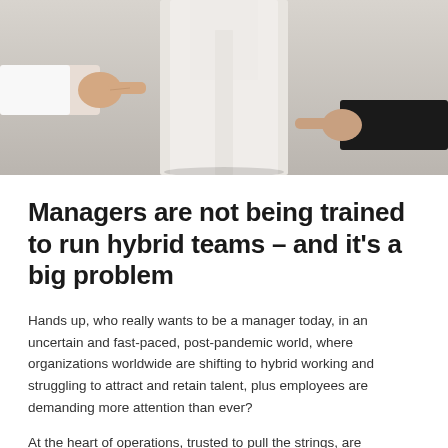[Figure (photo): Two people pointing at a third person in the center, all wearing business casual clothing against a light background.]
Managers are not being trained to run hybrid teams – and it's a big problem
Hands up, who really wants to be a manager today, in an uncertain and fast-paced, post-pandemic world, where organizations worldwide are shifting to hybrid working and struggling to attract and retain talent, plus employees are demanding more attention than ever?
At the heart of operations, trusted to pull the strings, are managers, many of whom are promoted to their